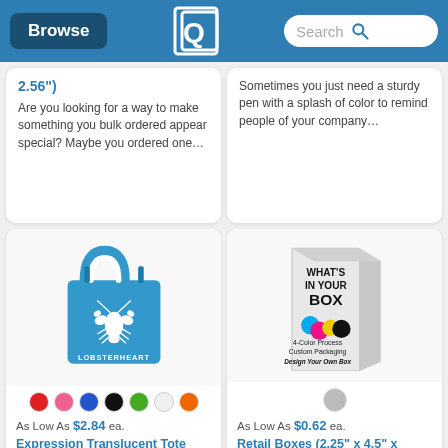Browse | [Logo] | Search
2.56") Are you looking for a way to make something you bulk ordered appear special? Maybe you ordered one...
Sometimes you just need a sturdy pen with a splash of color to remind people of your company...
[Figure (photo): Blue foldable tote bag with white lobster graphic and LOBSTERHEART text]
As Low As $2.84 ea.
Expression Translucent Tote
[Figure (photo): White retail box with WHAT'S IN YOUR BOX text and 4-Color Process Custom Packaging, Design Your Own Box]
As Low As $0.62 ea.
Retail Boxes (2.25" x 4.5" x